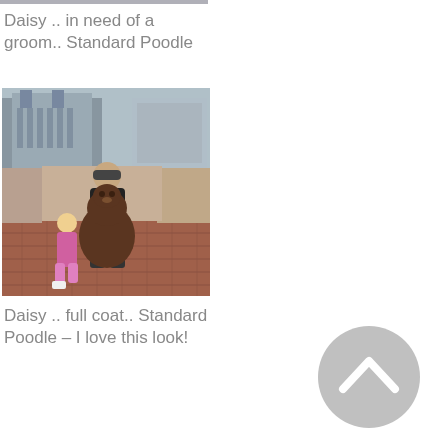[Figure (photo): Partial top of a photo showing a dog, cropped at the top of the page]
Daisy .. in need of a groom.. Standard Poodle
[Figure (photo): A man and a young girl posing with a large brown standard poodle in front of a historic building with a brick plaza]
Daisy .. full coat.. Standard Poodle – I love this look!
[Figure (other): Gray circular back-to-top button with an upward chevron arrow]